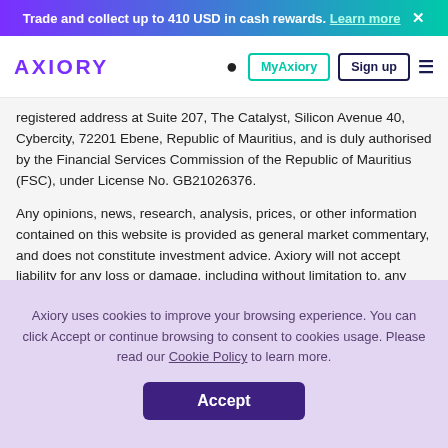Trade and collect up to 410 USD in cash rewards. Learn more ×
AXIORY  MyAxiory  Sign up
registered address at Suite 207, The Catalyst, Silicon Avenue 40, Cybercity, 72201 Ebene, Republic of Mauritius, and is duly authorised by the Financial Services Commission of the Republic of Mauritius (FSC), under License No. GB21026376.
Any opinions, news, research, analysis, prices, or other information contained on this website is provided as general market commentary, and does not constitute investment advice. Axiory will not accept liability for any loss or damage, including without limitation to, any loss of profit, which may arise directly or indirectly from use of or reliance on such information. THIRD PARTY LINKS: Links to third-party sites are provided for your convenience. Such sites are not within our control and may not follow the same privacy, security, or accessibility standards as ours. Axiory neither endorses nor
Axiory uses cookies to improve your browsing experience. You can click Accept or continue browsing to consent to cookies usage. Please read our Cookie Policy to learn more.
Accept